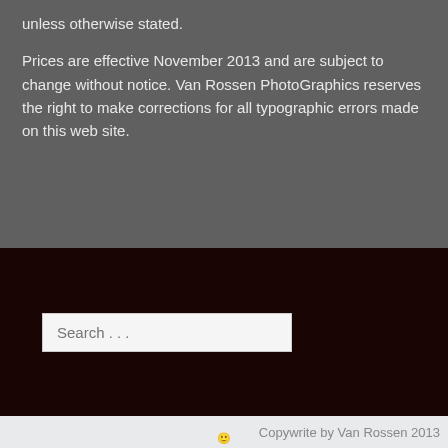unless otherwise stated.
Prices are effective November 2013 and are subject to change without notice. Van Rossen PhotoGraphics reserves the right to make corrections for all typographic errors made on this web site.
Search ...
Copywrite by Van Rossen 2013